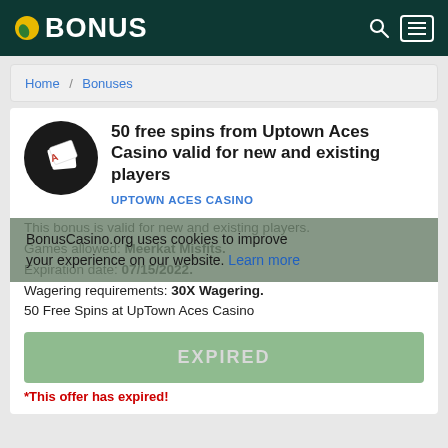BONUS
Home / Bonuses
50 free spins from Uptown Aces Casino valid for new and existing players
UPTOWN ACES CASINO
This bonus is valid for new and existing players. Games allowed: Meerkat Misfits. Expiration date: 07/15/2022. Wagering requirements: 30X Wagering. 50 Free Spins at UpTown Aces Casino
EXPIRED
*This offer has expired!
BonusCasino.org uses cookies to improve your experience on our website. Learn more